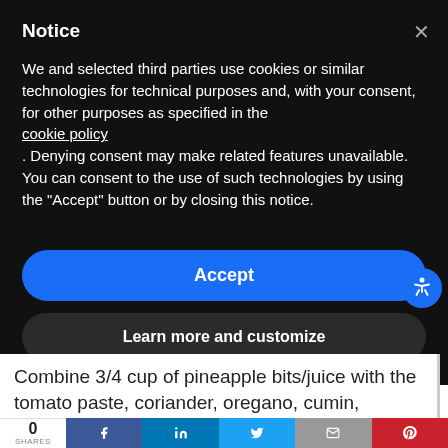Notice
We and selected third parties use cookies or similar technologies for technical purposes and, with your consent, for other purposes as specified in the cookie policy. Denying consent may make related features unavailable. You can consent to the use of such technologies by using the "Accept" button or by closing this notice.
Accept
Learn more and customize
Combine 3/4 cup of pineapple bits/juice with the tomato paste, coriander, oregano, cumin,
0 SHARES